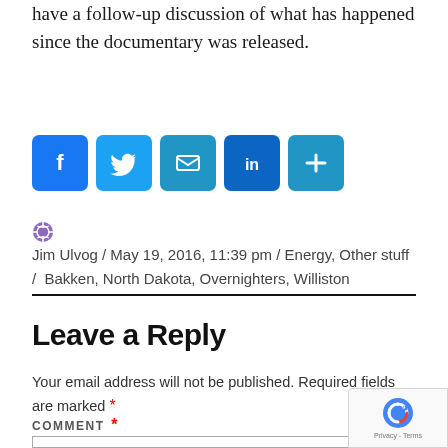have a follow-up discussion of what has happened since the documentary was released.
[Figure (infographic): Social sharing icons: Facebook (blue), Twitter (blue), Email (blue envelope), LinkedIn (blue), and a Plus/More button (blue)]
Jim Ulvog / May 19, 2016, 11:39 pm / Energy, Other stuff / Bakken, North Dakota, Overnighters, Williston
Leave a Reply
Your email address will not be published. Required fields are marked *
COMMENT *